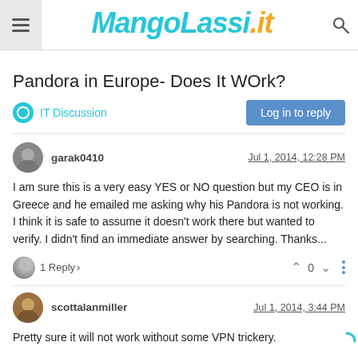MangoLassi.it
Pandora in Europe- Does It WOrk?
IT Discussion
Log in to reply
garak0410  Jul 1, 2014, 12:28 PM
I am sure this is a very easy YES or NO question but my CEO is in Greece and he emailed me asking why his Pandora is not working. I think it is safe to assume it doesn't work there but wanted to verify. I didn't find an immediate answer by searching. Thanks...
1 Reply >  0
scottalanmiller  Jul 1, 2014, 3:44 PM
Pretty sure it will not work without some VPN trickery.